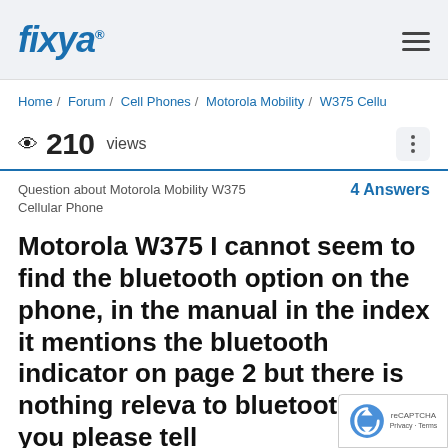fixya
Home / Forum / Cell Phones / Motorola Mobility / W375 Cellu
210 views
Question about Motorola Mobility W375 Cellular Phone   4 Answers
Motorola W375 I cannot seem to find the bluetooth option on the phone, in the manual in the index it mentions the bluetooth indicator on page 2 but there is nothing relev... to bluetooth, can you please tell